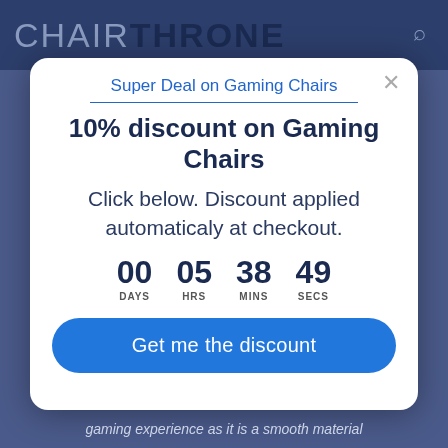CHAIRTHRONE
Super Deal on Gaming Chairs
10% discount on Gaming Chairs
Click below. Discount applied automaticaly at checkout.
00 DAYS  05 HRS  38 MINS  49 SECS
Get me the discount
gaming experience as it is a smooth material